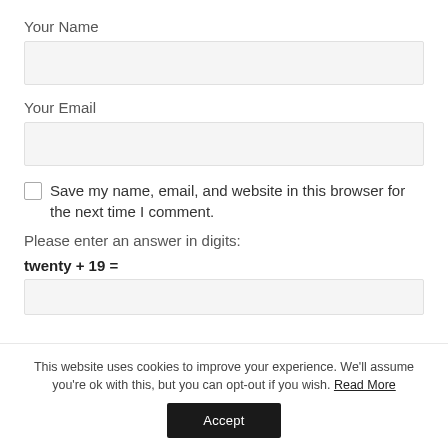Your Name
[Figure (other): Text input field for name (empty, light gray background)]
Your Email
[Figure (other): Text input field for email (empty, light gray background)]
Save my name, email, and website in this browser for the next time I comment.
Please enter an answer in digits:
twenty + 19 =
[Figure (other): Text input field for math answer (empty, light gray background)]
This website uses cookies to improve your experience. We'll assume you're ok with this, but you can opt-out if you wish. Read More
Accept